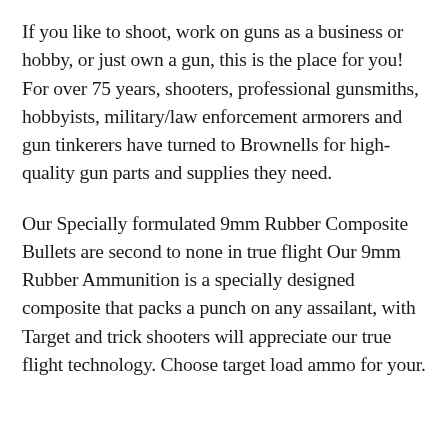If you like to shoot, work on guns as a business or hobby, or just own a gun, this is the place for you! For over 75 years, shooters, professional gunsmiths, hobbyists, military/law enforcement armorers and gun tinkerers have turned to Brownells for high-quality gun parts and supplies they need.
Our Specially formulated 9mm Rubber Composite Bullets are second to none in true flight Our 9mm Rubber Ammunition is a specially designed composite that packs a punch on any assailant, with Target and trick shooters will appreciate our true flight technology. Choose target load ammo for your.